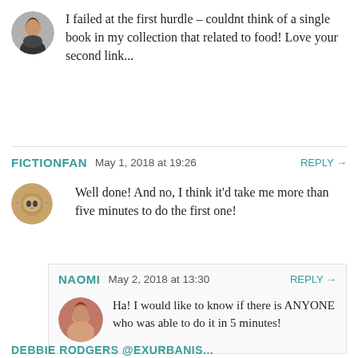I failed at the first hurdle – couldnt think of a single book in my collection that related to food! Love your second link...
FICTIONFAN   May 1, 2018 at 19:26   REPLY →
Well done! And no, I think it'd take me more than five minutes to do the first one!
NAOMI   May 2, 2018 at 13:30   REPLY →
Ha! I would like to know if there is ANYONE who was able to do it in 5 minutes!
DEBBIE RODGERS @EXURBANIS...